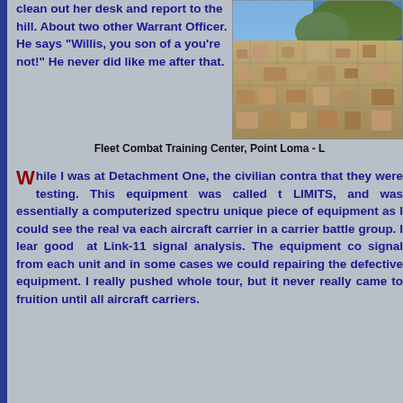clean out her desk and report to the hill. About two other Warrant Officer. He says "Willis, you son of a you're not!" He never did like me after that.
[Figure (photo): Aerial photograph of Fleet Combat Training Center, Point Loma showing buildings, streets, and coastline/bay in the background]
Fleet Combat Training Center, Point Loma - L
While I was at Detachment One, the civilian contra that they were testing. This equipment was called t LIMITS, and was essentially a computerized spectru unique piece of equipment as I could see the real va each aircraft carrier in a carrier battle group. I lear good at Link-11 signal analysis. The equipment co signal from each unit and in some cases we could repairing the defective equipment. I really pushed whole tour, but it never really came to fruition until all aircraft carriers.